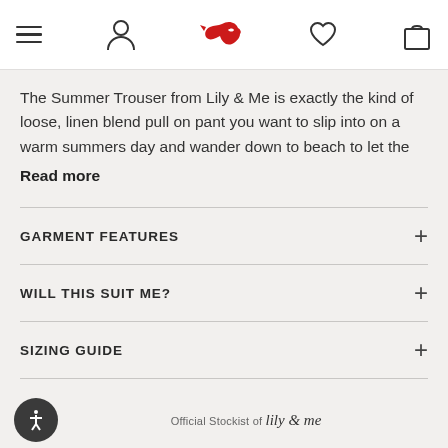Navigation header with hamburger menu, user icon, bird logo, heart icon, and bag icon
The Summer Trouser from Lily & Me is exactly the kind of loose, linen blend pull on pant you want to slip into on a warm summers day and wander down to beach to let the
Read more
GARMENT FEATURES
WILL THIS SUIT ME?
SIZING GUIDE
DELIVERY & RETURNS
Official Stockist of Lily & Me